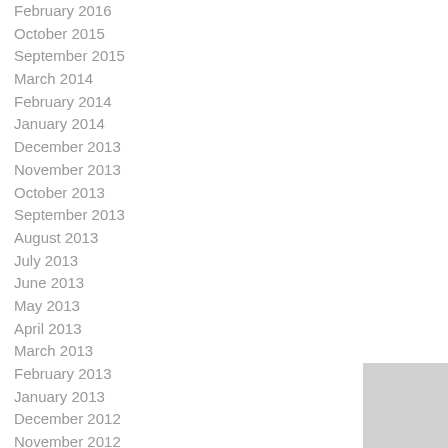February 2016
October 2015
September 2015
March 2014
February 2014
January 2014
December 2013
November 2013
October 2013
September 2013
August 2013
July 2013
June 2013
May 2013
April 2013
March 2013
February 2013
January 2013
December 2012
November 2012
October 2012